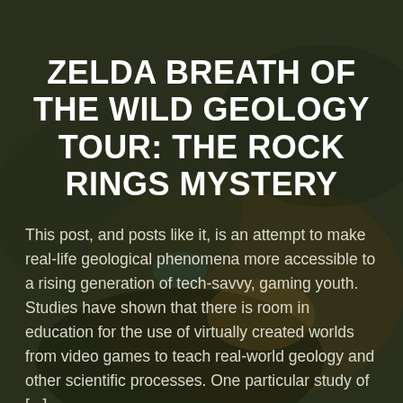[Figure (illustration): Dark fantasy landscape background from Zelda: Breath of the Wild — dim greenish-brown cave or outdoor environment with subtle lighting, used as article card background image]
ZELDA BREATH OF THE WILD GEOLOGY TOUR: THE ROCK RINGS MYSTERY
This post, and posts like it, is an attempt to make real-life geological phenomena more accessible to a rising generation of tech-savvy, gaming youth. Studies have shown that there is room in education for the use of virtually created worlds from video games to teach real-world geology and other scientific processes. One particular study of [...]
Read More